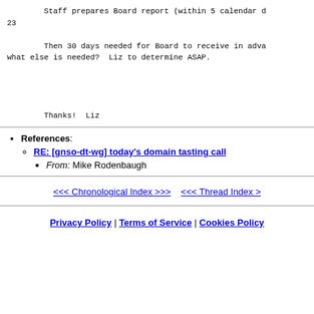Staff prepares Board report (within 5 calendar d
23


        Then 30 days needed for Board to receive in adva
what else is needed?  Liz to determine ASAP.




        Thanks!  Liz
References:
  RE: [gnso-dt-wg] today's domain tasting call
    From: Mike Rodenbaugh
<<< Chronological Index >>>    <<< Thread Index >
Privacy Policy | Terms of Service | Cookies Policy